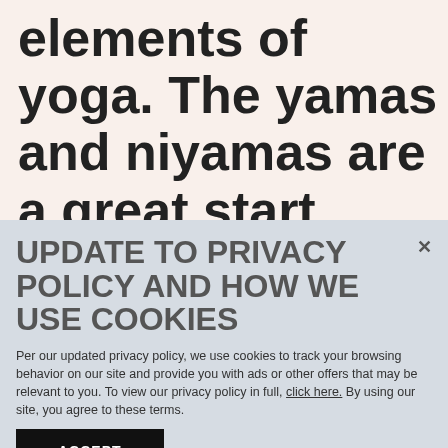elements of yoga. The yamas and niyamas are a great start.
Yamas and Niyamas
These are the essence of yoga – it's what
UPDATE TO PRIVACY POLICY AND HOW WE USE COOKIES
Per our updated privacy policy, we use cookies to track your browsing behavior on our site and provide you with ads or other offers that may be relevant to you. To view our privacy policy in full, click here. By using our site, you agree to these terms.
ACCEPT